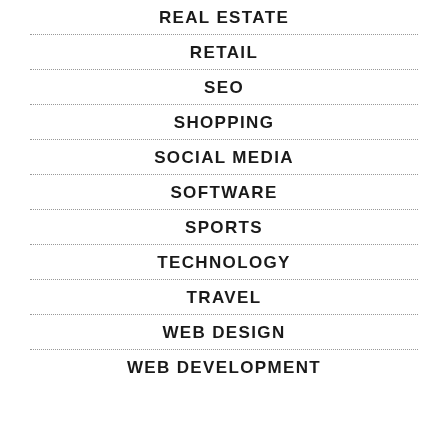REAL ESTATE
RETAIL
SEO
SHOPPING
SOCIAL MEDIA
SOFTWARE
SPORTS
TECHNOLOGY
TRAVEL
WEB DESIGN
WEB DEVELOPMENT